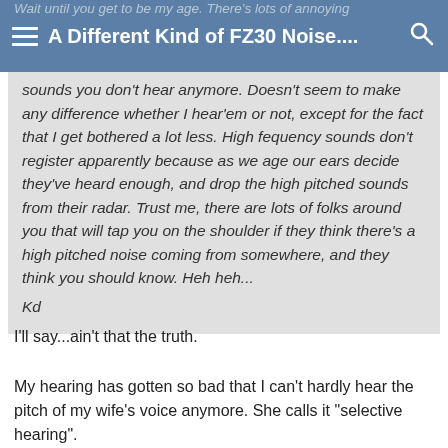A Different Kind of FZ30 Noise....
Wait until you get to be my age. There's lots of annoying sounds you don't hear anymore. Doesn't seem to make any difference whether I hear'em or not, except for the fact that I get bothered a lot less. High fequency sounds don't register apparently because as we age our ears decide they've heard enough, and drop the high pitched sounds from their radar. Trust me, there are lots of folks around you that will tap you on the shoulder if they think there's a high pitched noise coming from somewhere, and they think you should know. Heh heh...

Kd
I'll say...ain't that the truth.
My hearing has gotten so bad that I can't hardly hear the pitch of my wife's voice anymore. She calls it "selective hearing".